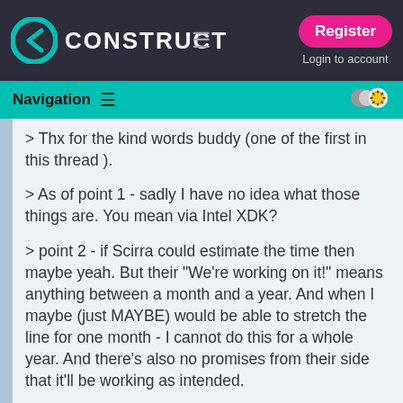CONSTRUCT | Register | Login to account
Navigation
> Thx for the kind words buddy (one of the first in this thread ).
> As of point 1 - sadly I have no idea what those things are. You mean via Intel XDK?
> point 2 - if Scirra could estimate the time then maybe yeah. But their "We're working on it!" means anything between a month and a year. And when I maybe (just MAYBE) would be able to stretch the line for one month - I cannot do this for a whole year. And there's also no promises from their side that it'll be working as intended.